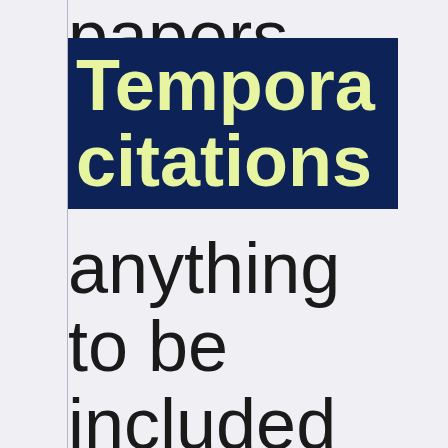papers
Temporary citations
anything to be included but not shifted into topics yet